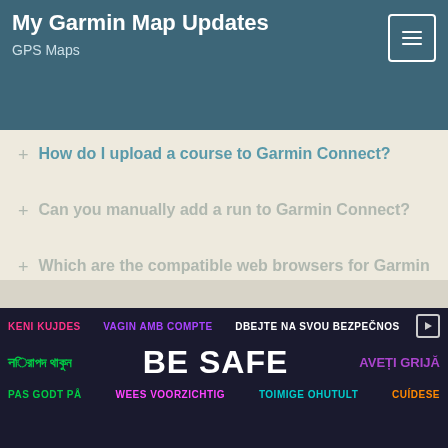sync or software update process, limits to 5.
My Garmin Map Updates
GPS Maps
+ How do I upload a course to Garmin Connect?
+ Can you manually add a run to Garmin Connect?
+ Which are the compatible web browsers for Garmin connect?
Copyright © 2020 MGMU | All Rights Reserved | Powered By MyGarminMapUpdates
[Figure (infographic): Multilingual safety ad banner with text 'BE SAFE' in multiple languages including English, Bengali, Albanian, Catalan, Czech, Romanian, Norwegian, Dutch, Finnish, Spanish]